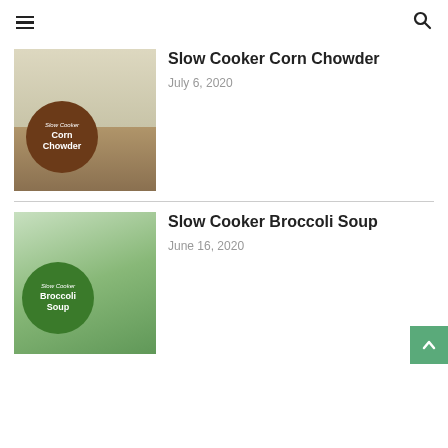Navigation header with hamburger menu and search icon
[Figure (photo): Slow Cooker Corn Chowder recipe thumbnail with brown circle badge]
Slow Cooker Corn Chowder
July 6, 2020
[Figure (photo): Slow Cooker Broccoli Soup recipe thumbnail with green circle badge]
Slow Cooker Broccoli Soup
June 16, 2020